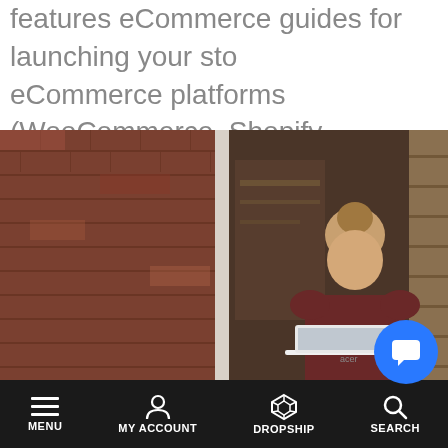features eCommerce guides for launching your store, eCommerce platforms (WooCommerce, Shopify, WordPress), and more.
[Figure (photo): Woman with hair in a bun working on a laptop outdoors against a brick wall background]
MENU  MY ACCOUNT  DROPSHIP  SEARCH